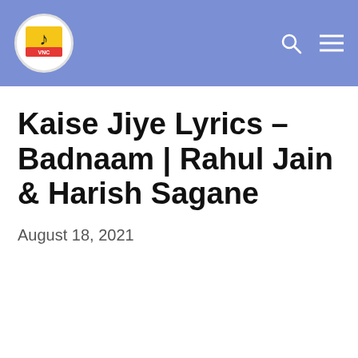VNC Lyrics — site header with logo, search icon, and menu icon
Kaise Jiye Lyrics – Badnaam | Rahul Jain & Harish Sagane
August 18, 2021